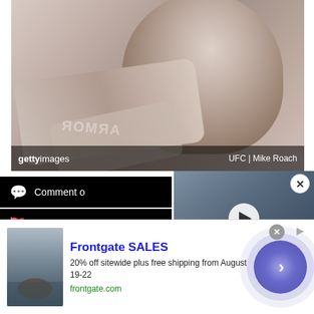[Figure (photo): Getty Images photo of a UFC fighter smiling while having his hands wrapped, wearing Under Armour gear. Watermark overlay shows 'gettyimages' on left and 'UFC | Mike Roach' on right.]
[Figure (screenshot): Black button with chat bubble icon and text 'Comment o' (truncated)]
[Figure (screenshot): Black button with flag icon and text 'Give us' (truncated)]
[Figure (photo): Video thumbnail showing a UFC fighter in action with a play button overlay, blue-toned sports imagery]
[Figure (infographic): Frontgate SALES advertisement: image of outdoor patio with fire pit on left, ad text in center reading 'Frontgate SALES / 20% off sitewide plus free shipping from August 19-22 / frontgate.com', purple circle with arrow on right. Close X button and ad info icon at top right.]